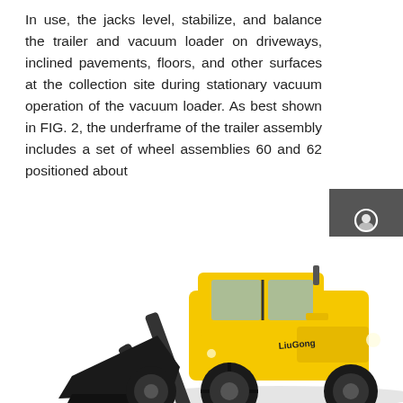In use, the jacks level, stabilize, and balance the trailer and vacuum loader on driveways, inclined pavements, floors, and other surfaces at the collection site during stationary vacuum operation of the vacuum loader. As best shown in FIG. 2, the underframe of the trailer assembly includes a set of wheel assemblies 60 and 62 positioned about
[Figure (other): Dark rounded rectangle button labeled 'Get a Quote']
[Figure (infographic): Grey sidebar panel with Chat, Email, and Contact icons and labels, separated by red dividers]
[Figure (photo): Yellow LiuGong wheel loader / front-end loader construction machine photographed from the front-left side]